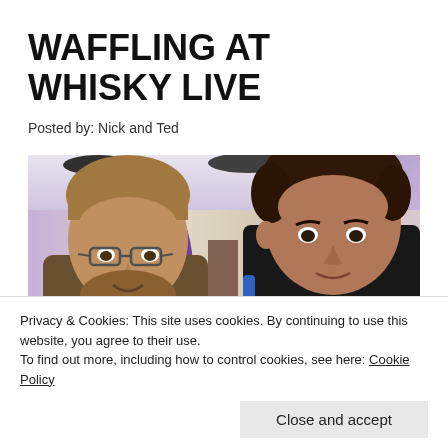WAFFLING AT WHISKY LIVE
Posted by: Nick and Ted
[Figure (photo): Two men posing for a selfie at the Whisky Live event, in a large hall with purple arches and exhibition stands in the background. The man on the left has glasses and lighter hair, the man on the right has darker curly hair and wears a black shirt with a blue bag strap.]
Privacy & Cookies: This site uses cookies. By continuing to use this website, you agree to their use.
To find out more, including how to control cookies, see here: Cookie Policy
Close and accept